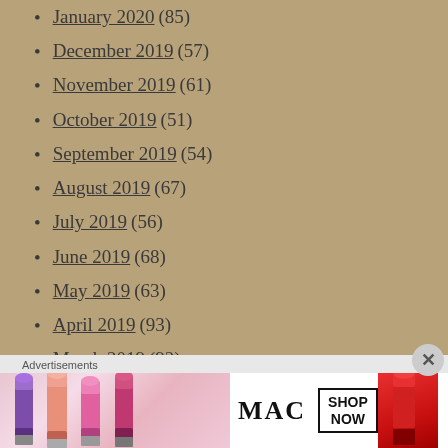January 2020 (85)
December 2019 (57)
November 2019 (61)
October 2019 (51)
September 2019 (54)
August 2019 (67)
July 2019 (56)
June 2019 (68)
May 2019 (63)
April 2019 (93)
March 2019 (92)
February 2019 (99)
January 2019 (98)
December 2018 (83)
Advertisements
[Figure (photo): MAC Cosmetics advertisement banner showing colorful lipsticks and SHOP NOW button]